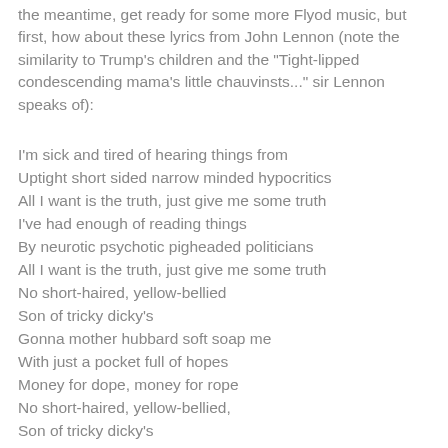the meantime, get ready for some more Flyod music, but first, how about these lyrics from John Lennon (note the similarity to Trump's children and the "Tight-lipped condescending mama's little chauvinsts..." sir Lennon speaks of):
I'm sick and tired of hearing things from
Uptight short sided narrow minded hypocritics
All I want is the truth, just give me some truth
I've had enough of reading things
By neurotic psychotic pigheaded politicians
All I want is the truth, just give me some truth
No short-haired, yellow-bellied
Son of tricky dicky's
Gonna mother hubbard soft soap me
With just a pocket full of hopes
Money for dope, money for rope
No short-haired, yellow-bellied,
Son of tricky dicky's